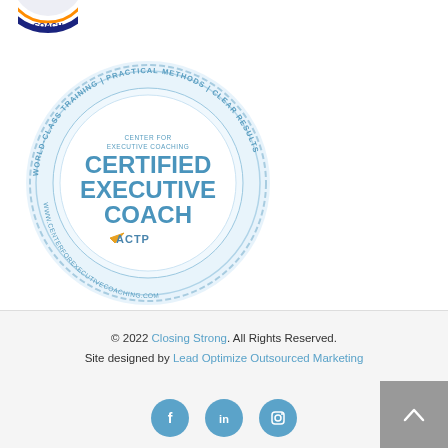[Figure (logo): Partially cropped circular badge/seal at top left showing 'COACH' text with orange and blue design]
[Figure (logo): Certified Executive Coach seal badge. Light blue circular seal with gear/laurel border. Text reads: WORLD-CLASS TRAINING | PRACTICAL METHODS | CLEAR RESULTS. Center text: CERTIFIED EXECUTIVE COACH. ACTP logo. www.centerforexecutivecoaching.com]
© 2022 Closing Strong. All Rights Reserved.
Site designed by Lead Optimize Outsourced Marketing